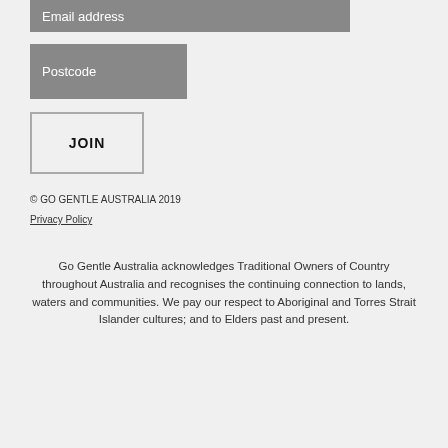[Figure (screenshot): Email address input field (greyed out placeholder)]
[Figure (screenshot): Postcode input field (greyed out placeholder)]
[Figure (screenshot): JOIN button with border]
© GO GENTLE AUSTRALIA 2019
Privacy Policy
Go Gentle Australia acknowledges Traditional Owners of Country throughout Australia and recognises the continuing connection to lands, waters and communities. We pay our respect to Aboriginal and Torres Strait Islander cultures; and to Elders past and present.